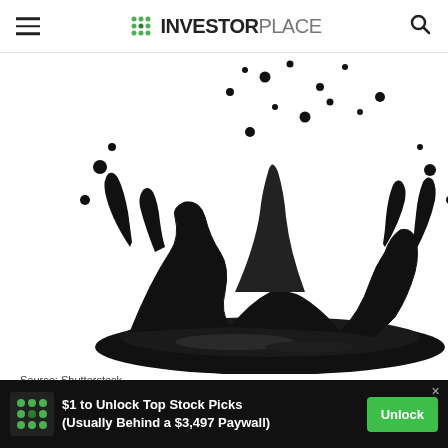INVESTORPLACE
[Figure (photo): Black oil splash against white background — liquid oil splashing upward from a bowl-like pool, with droplets scattered in the air]
Source: Shutterstock
Ecopetrol (NYSE:EC) is Colombia's leading integrated oil company and one of the country's few local companies that trades on the U.S. markets. It's also